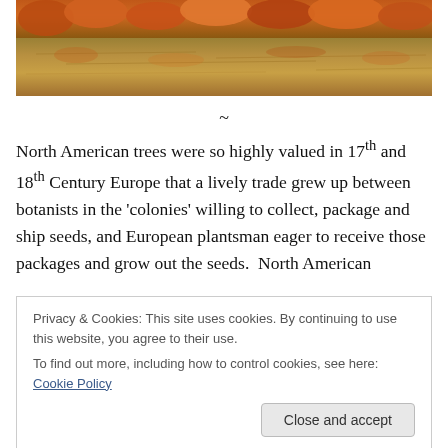[Figure (photo): Autumn trees reflected in a lake or river; orange and brown foliage visible at the top with water reflection below.]
~
North American trees were so highly valued in 17th and 18th Century Europe that a lively trade grew up between botanists in the 'colonies' willing to collect, package and ship seeds, and European plantsman eager to receive those packages and grow out the seeds. North American
Privacy & Cookies: This site uses cookies. By continuing to use this website, you agree to their use.
To find out more, including how to control cookies, see here: Cookie Policy
in prior generations.